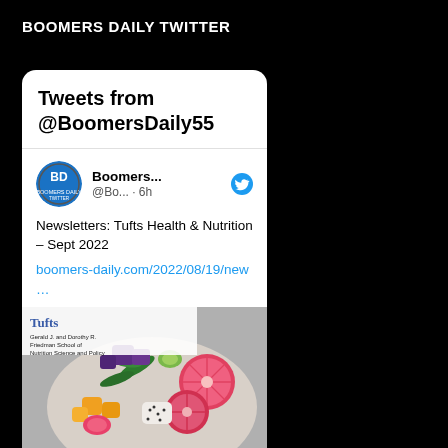BOOMERS DAILY TWITTER
Tweets from @BoomersDaily55
Boomers... @Bo... · 6h
Newsletters: Tufts Health & Nutrition – Sept 2022 boomers-daily.com/2022/08/19/new …
[Figure (photo): Food bowl with colorful fruits and vegetables including grapefruit, mango, purple cabbage, green beans, and dragon fruit on a marble surface. Tufts Gerald J. and Dorothy R. Friedman School of Nutrition Science and Policy banner overlaid at top.]